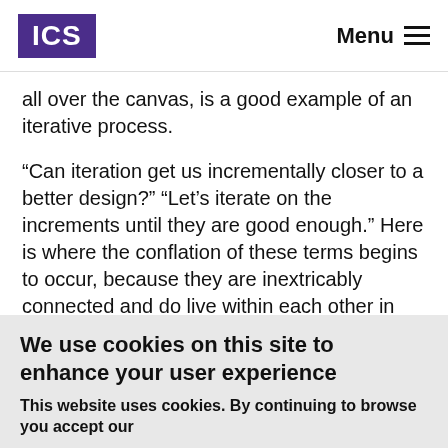ICS | Menu
all over the canvas, is a good example of an iterative process.
“Can iteration get us incrementally closer to a better design?” “Let’s iterate on the increments until they are good enough.” Here is where the conflation of these terms begins to occur, because they are inextricably connected and do live within each other in almost any work process.
Imagine the work of washing your car. You could wash the...
We use cookies on this site to enhance your user experience
This website uses cookies. By continuing to browse you accept our